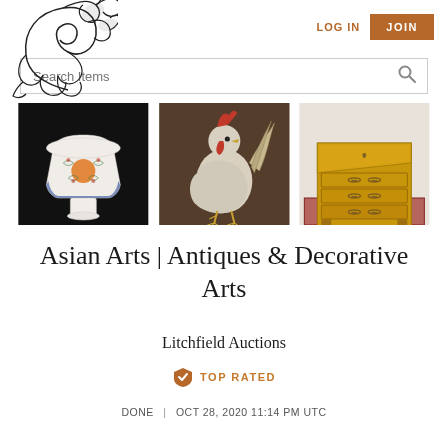[Figure (logo): Decorative acanthus scroll logo in black ink, top-left corner]
LOG IN
JOIN
Search Items
[Figure (photo): Chinese porcelain stem cup with colorful floral decoration on black background]
[Figure (photo): Painting of a white rooster/cockerel with dark background]
[Figure (photo): Antique wooden slant-front secretary desk/bureau bookcase in honey wood tone]
Asian Arts | Antiques & Decorative Arts
Litchfield Auctions
[Figure (illustration): Orange shield badge icon for TOP RATED]
TOP RATED
DONE | OCT 28, 2020 11:14 PM UTC